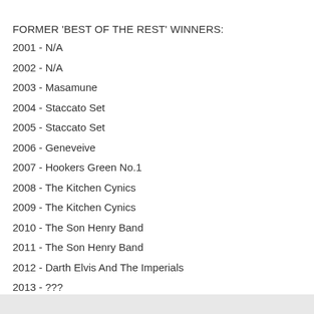FORMER 'BEST OF THE REST' WINNERS:
2001 - N/A
2002 - N/A
2003 - Masamune
2004 - Staccato Set
2005 - Staccato Set
2006 - Geneveive
2007 - Hookers Green No.1
2008 - The Kitchen Cynics
2009 - The Kitchen Cynics
2010 - The Son Henry Band
2011 - The Son Henry Band
2012 - Darth Elvis And The Imperials
2013 - ???
Edited February 1, 2013 by The Ghost Of Fudge
+ Quote